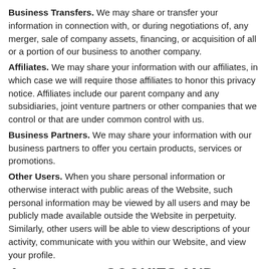Business Transfers. We may share or transfer your information in connection with, or during negotiations of, any merger, sale of company assets, financing, or acquisition of all or a portion of our business to another company.
Affiliates. We may share your information with our affiliates, in which case we will require those affiliates to honor this privacy notice. Affiliates include our parent company and any subsidiaries, joint venture partners or other companies that we control or that are under common control with us.
Business Partners. We may share your information with our business partners to offer you certain products, services or promotions.
Other Users. When you share personal information or otherwise interact with public areas of the Website, such personal information may be viewed by all users and may be publicly made available outside the Website in perpetuity. Similarly, other users will be able to view descriptions of your activity, communicate with you within our Website, and view your profile.
4. D... COOKIES AND OTHER